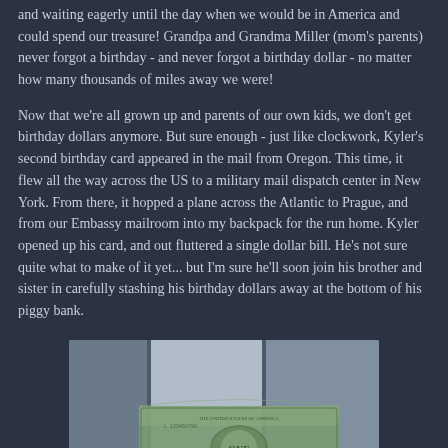and waiting eagerly until the day when we would be in America and could spend our treasure! Grandpa and Grandma Miller (mom's parents) never forgot a birthday - and never forgot a birthday dollar - no matter how many thousands of miles away we were!
Now that we're all grown up and parents of our own kids, we don't get birthday dollars anymore. But sure enough - just like clockwork, Kyler's second birthday card appeared in the mail from Oregon. This time, it flew all the way across the US to a military mail dispatch center in New York. From there, it hopped a plane across the Atlantic to Prague, and from our Embassy mailroom into my backpack for the run home. Kyler opened up his card, and out fluttered a single dollar bill. He's not sure quite what to make of it yet... but I'm sure he'll soon join his brother and sister in carefully stashing his birthday dollars away at the bottom of his piggy bank.
[Figure (photo): Child's hands holding up a single dollar bill, with a light-colored door or wall in the background.]